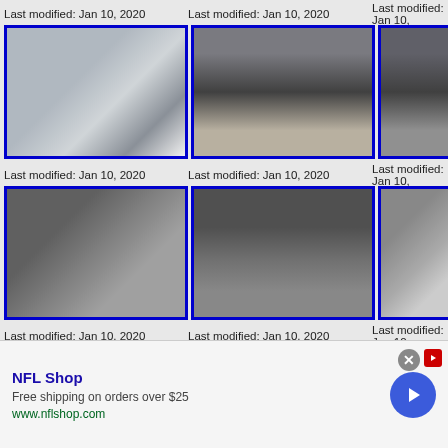Last modified: Jan 10, 2020
Last modified: Jan 10, 2020
Last modified: Jan 10,
[Figure (photo): Car rear bumper close-up in snowy setting]
[Figure (photo): Open car trunk with cargo liner, exterior view]
[Figure (photo): Open car trunk interior, partial view]
Last modified: Jan 10, 2020
Last modified: Jan 10, 2020
Last modified: Jan 10,
[Figure (photo): Car trunk liner close-up, textured surface]
[Figure (photo): Car trunk mat/liner from inside]
[Figure (photo): Close-up of trunk mat texture with label]
Last modified: Jan 10, 2020
Last modified: Jan 10, 2020
Last modified: Jan 10,
[Figure (photo): Trunk interior partial view]
[Figure (photo): Trunk exterior with liner]
[Figure (photo): Trunk detail partial]
NFL Shop
Free shipping on orders over $25
www.nflshop.com